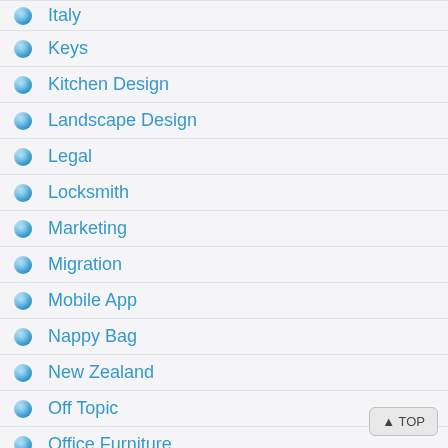Italy
Keys
Kitchen Design
Landscape Design
Legal
Locksmith
Marketing
Migration
Mobile App
Nappy Bag
New Zealand
Off Topic
Office Furniture
Pergolas
Photography